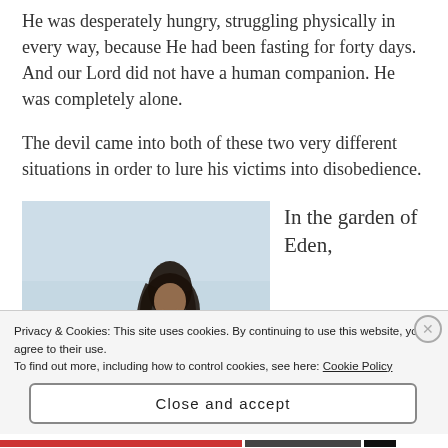He was desperately hungry, struggling physically in every way, because He had been fasting for forty days. And our Lord did not have a human companion. He was completely alone.
The devil came into both of these two very different situations in order to lure his victims into disobedience.
[Figure (photo): A figure of a person with dark hair looking downward, against a light blue/grey sky background.]
In the garden of Eden,
Privacy & Cookies: This site uses cookies. By continuing to use this website, you agree to their use.
To find out more, including how to control cookies, see here: Cookie Policy
Close and accept